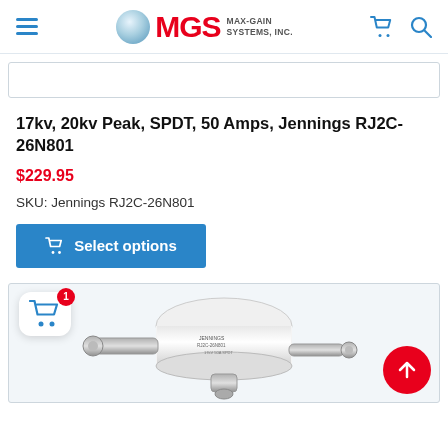MGS MAX-GAIN SYSTEMS, INC.
[Figure (screenshot): Top portion of a product image placeholder, partially visible]
17kv, 20kv Peak, SPDT, 50 Amps, Jennings RJ2C-26N801
$229.95
SKU: Jennings RJ2C-26N801
[Figure (other): Blue 'Select options' button with cart icon]
[Figure (photo): Product photo of a white cylindrical relay/switch component (Jennings RJ2C-26N801) with metal connectors, partially visible. Overlaid with a cart icon badge showing '1' and a red scroll-to-top arrow button.]